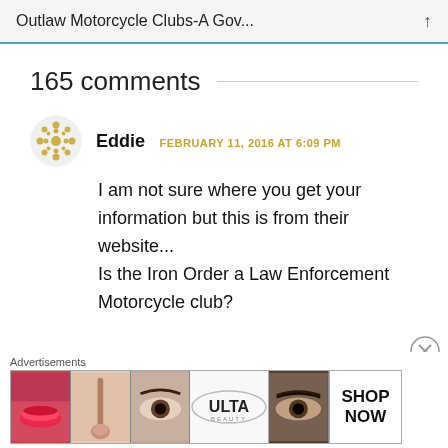Outlaw Motorcycle Clubs-A Gov...
165 comments
Eddie  FEBRUARY 11, 2016 AT 6:09 PM
I am not sure where you get your information but this is from their website...
Is the Iron Order a Law Enforcement Motorcycle club?
Advertisements